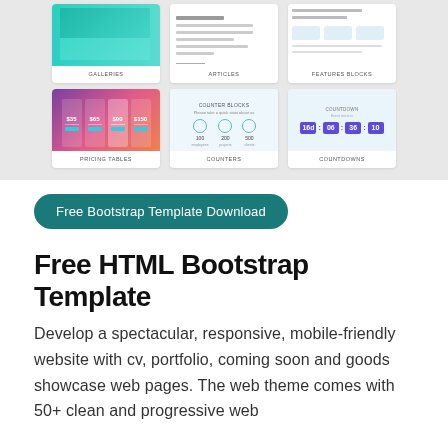[Figure (screenshot): Screenshot of a web template showcase with 6 cards arranged in 2 rows of 3. Top row: GALLERIES, ARTICLES, FEATURES BLOCKS. Bottom row: PRICING TABLES, COUNTERS, COUNTDOWNS.]
Free Bootstrap Template Download
Free HTML Bootstrap Template
Develop a spectacular, responsive, mobile-friendly website with cv, portfolio, coming soon and goods showcase web pages. The web theme comes with 50+ clean and progressive web